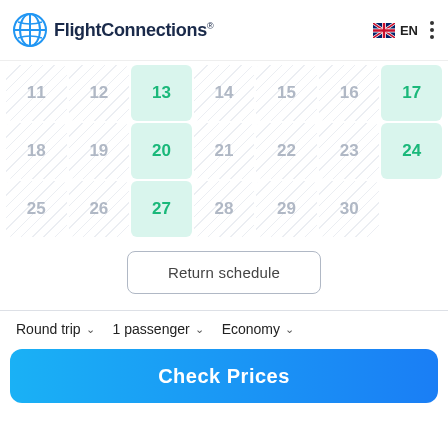FlightConnections EN
[Figure (screenshot): Calendar grid showing dates 11-30 with available flight dates 13, 17, 20, 24, 27 highlighted in green on mint background; other dates shown with diagonal hatching pattern]
Return schedule
Round trip  1 passenger  Economy
Check Prices